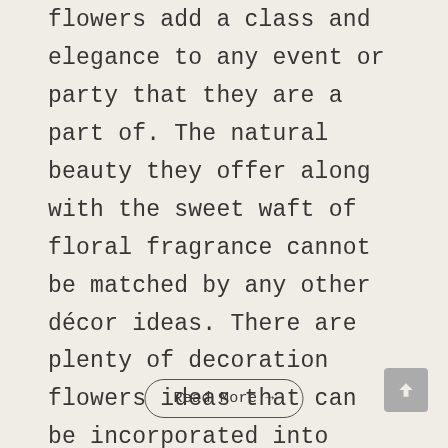flowers add a class and elegance to any event or party that they are a part of. The natural beauty they offer along with the sweet waft of floral fragrance cannot be matched by any other décor ideas. There are plenty of decoration flowers ideas that can be incorporated into event theme. The best part about floral arrangements is the fact that…
Read More →